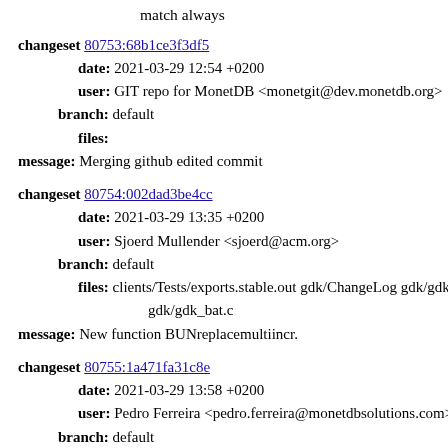match always
changeset 80753:68b1ce3f3df5
date: 2021-03-29 12:54 +0200
user: GIT repo for MonetDB <monetgit@dev.monetdb.org>
branch: default
files:
message: Merging github edited commit
changeset 80754:002dad3be4cc
date: 2021-03-29 13:35 +0200
user: Sjoerd Mullender <sjoerd@acm.org>
branch: default
files: clients/Tests/exports.stable.out gdk/ChangeLog gdk/gdk.h gdk/gdk_bat.c
message: New function BUNreplacemultiincr.
changeset 80755:1a471fa31c8e
date: 2021-03-29 13:58 +0200
user: Pedro Ferreira <pedro.ferreira@monetdbsolutions.com>
branch: default